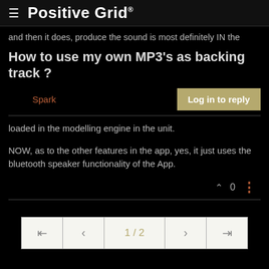Positive Grid
and then it does, produce the sound is most definitely IN the
How to use my own MP3's as backing track ?
Spark
Log in to reply
loaded in the modelling engine in the unit.
NOW, as to the other features in the app, yes, it just uses the bluetooth speaker functionality of the App.
0
1 / 2